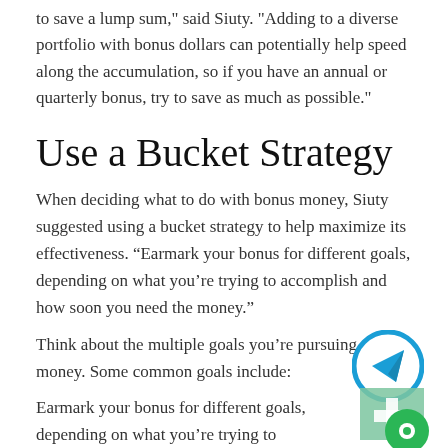to save a lump sum," said Siuty. "Adding to a diverse portfolio with bonus dollars can potentially help speed along the accumulation, so if you have an annual or quarterly bonus, try to save as much as possible."
Use a Bucket Strategy
When deciding what to do with bonus money, Siuty suggested using a bucket strategy to help maximize its effectiveness. “Earmark your bonus for different goals, depending on what you’re trying to accomplish and how soon you need the money.”
Think about the multiple goals you’re pursuing your money. Some common goals include:
Earmark your bonus for different goals, depending on what you’re trying to accomplish
RetirementCollege fund for the kidsSaving up for a second homeSetting money aside for children’s